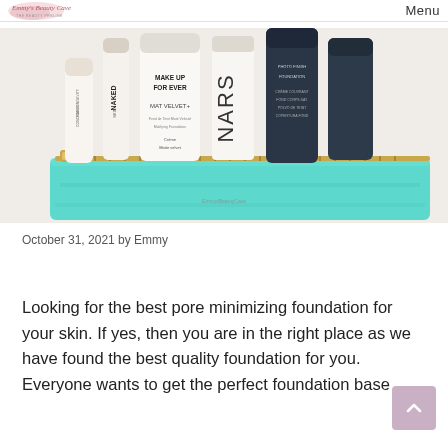Emmy's Beauty Cave — Menu
[Figure (photo): Flatlay photo of multiple foundation bottles (Naked Skin, Make Up For Ever Mat Velvet+, NARS, and others) standing upright behind a turquoise/teal makeup pouch with a gold zipper. The image has a watermark reading EmmysBeautyCave.]
October 31, 2021 by Emmy
Looking for the best pore minimizing foundation for your skin. If yes, then you are in the right place as we have found the best quality foundation for you Everyone wants to get the perfect foundation base